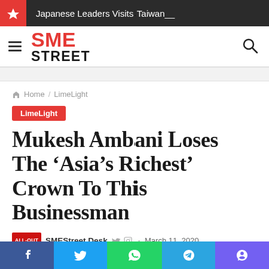Japanese Leaders Visits Taiwan__
[Figure (logo): SME Street logo with red SME text and black STREET text, hamburger menu icon on left, search icon on right]
Home / LimeLight
LimeLight
Mukesh Ambani Loses The ‘Asia’s Richest’ Crown To This Businessman
SMEStreet Desk · March 11, 2020
Facebook Twitter WhatsApp Telegram Viber